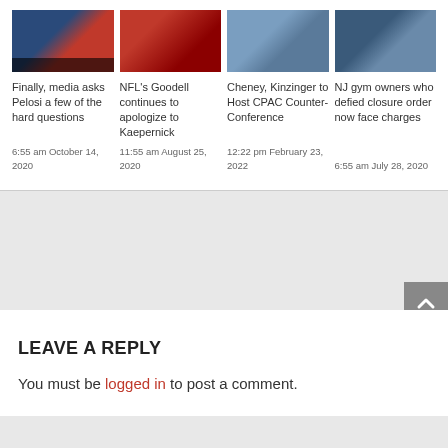[Figure (photo): News article thumbnail: two people on a TV broadcast set]
[Figure (photo): News article thumbnail: NFL players in red uniforms]
[Figure (photo): News article thumbnail: two politicians]
[Figure (photo): News article thumbnail: people in masks/police]
Finally, media asks Pelosi a few of the hard questions
6:55 am October 14, 2020
NFL's Goodell continues to apologize to Kaepernick
11:55 am August 25, 2020
Cheney, Kinzinger to Host CPAC Counter-Conference
12:22 pm February 23, 2022
NJ gym owners who defied closure order now face charges
6:55 am July 28, 2020
LEAVE A REPLY
You must be logged in to post a comment.